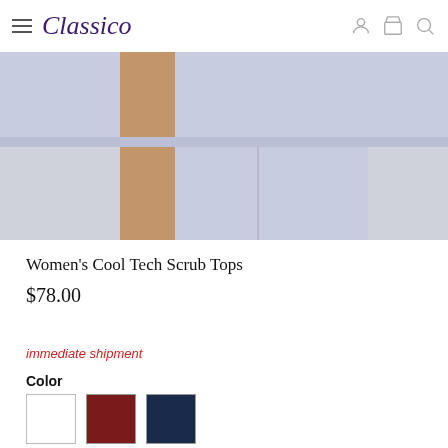Classico
[Figure (photo): Product photo of women's scrub outfit — lavender/light purple top and pants, cropped to show torso and hands, light gray background]
Women's Cool Tech Scrub Tops
$78.00
immediate shipment
Color
[Figure (infographic): Three color swatches: white, dark red/burgundy, navy blue]